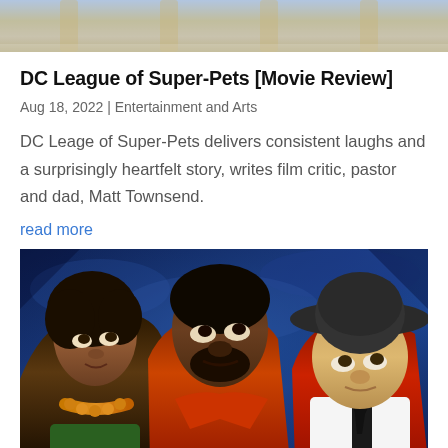[Figure (photo): Top portion of a movie-related image, partially cropped]
DC League of Super-Pets [Movie Review]
Aug 18, 2022 | Entertainment and Arts
DC Leage of Super-Pets delivers consistent laughs and a surprisingly heartfelt story, writes film critic, pastor and dad, Matt Townsend.
read more
[Figure (photo): Three people looking upward against a blue background — a woman on the left wearing an orange beaded necklace, a man in the center in a red top, and a person on the right wearing a wide-brimmed hat and red jacket with white collar and black tie.]